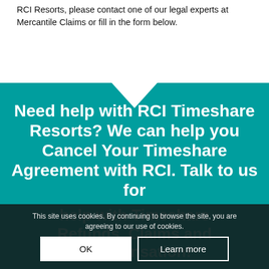RCI Resorts, please contact one of our legal experts at Mercantile Claims or fill in the form below.
Need help with RCI Timeshare Resorts? We can help you Cancel Your Timeshare Agreement with RCI. Talk to us for help with Timeshare Refunds, Claims and Compensation!
This site uses cookies. By continuing to browse the site, you are agreeing to our use of cookies.